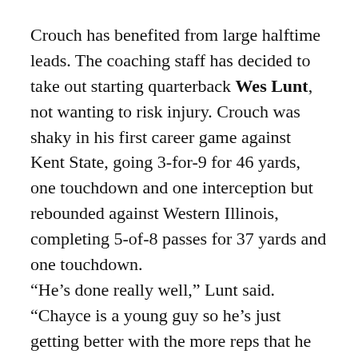Crouch has benefited from large halftime leads. The coaching staff has decided to take out starting quarterback Wes Lunt, not wanting to risk injury. Crouch was shaky in his first career game against Kent State, going 3-for-9 for 46 yards, one touchdown and one interception but rebounded against Western Illinois, completing 5-of-8 passes for 37 yards and one touchdown.
“He’s done really well,” Lunt said. “Chayce is a young guy so he’s just getting better with the more reps that he gets.”
Injury report
Cubit had more injuries to talk about during Monday’s press conference than he did the previous week.